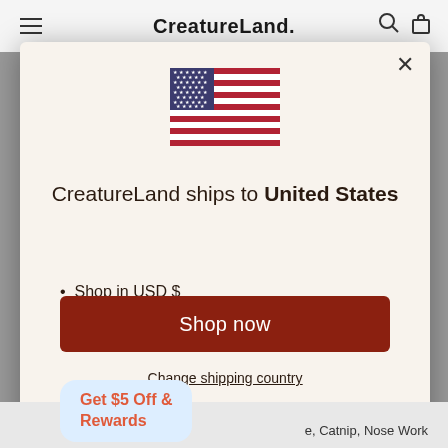CreatureLand.
[Figure (illustration): US flag icon]
CreatureLand ships to United States
Shop in USD $
Get shipping options for United States
Shop now
Change shipping country
Get $5 Off & Rewards
e, Catnip, Nose Work